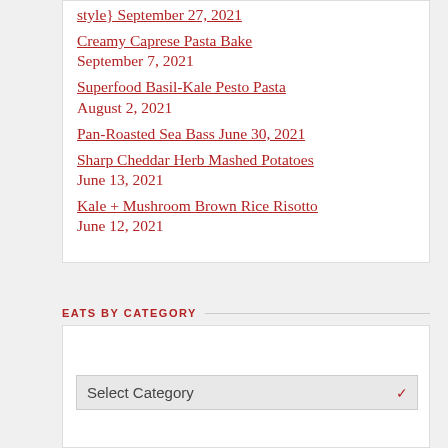style} September 27, 2021
Creamy Caprese Pasta Bake September 7, 2021
Superfood Basil-Kale Pesto Pasta August 2, 2021
Pan-Roasted Sea Bass June 30, 2021
Sharp Cheddar Herb Mashed Potatoes June 13, 2021
Kale + Mushroom Brown Rice Risotto June 12, 2021
EATS BY CATEGORY
Select Category